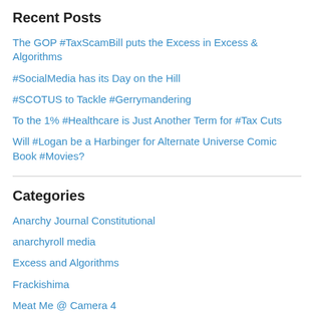Recent Posts
The GOP #TaxScamBill puts the Excess in Excess & Algorithms
#SocialMedia has its Day on the Hill
#SCOTUS to Tackle #Gerrymandering
To the 1% #Healthcare is Just Another Term for #Tax Cuts
Will #Logan be a Harbinger for Alternate Universe Comic Book #Movies?
Categories
Anarchy Journal Constitutional
anarchyroll media
Excess and Algorithms
Frackishima
Meat Me @ Camera 4
Potato Shooter
Sports Roll
Stimulus Space Response
Uncategorized